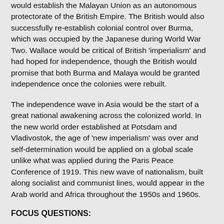would establish the Malayan Union as an autonomous protectorate of the British Empire. The British would also successfully re-establish colonial control over Burma, which was occupied by the Japanese during World War Two. Wallace would be critical of British 'imperialism' and had hoped for independence, though the British would promise that both Burma and Malaya would be granted independence once the colonies were rebuilt.
The independence wave in Asia would be the start of a great national awakening across the colonized world. In the new world order established at Potsdam and Vladivostok, the age of 'new imperialism' was over and self-determination would be applied on a global scale unlike what was applied during the Paris Peace Conference of 1919. This new wave of nationalism, built along socialist and communist lines, would appear in the Arab world and Africa throughout the 1950s and 1960s.
FOCUS QUESTIONS: